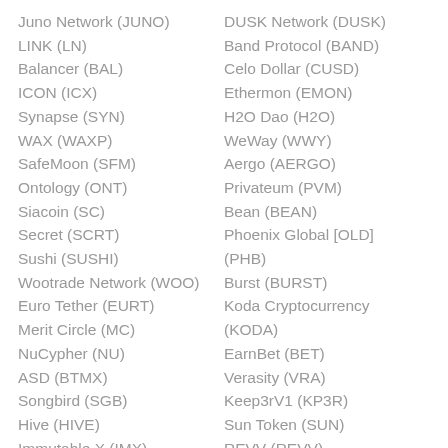Juno Network (JUNO)
LINK (LN)
Balancer (BAL)
ICON (ICX)
Synapse (SYN)
WAX (WAXP)
SafeMoon (SFM)
Ontology (ONT)
Siacoin (SC)
Secret (SCRT)
Sushi (SUSHI)
Wootrade Network (WOO)
Euro Tether (EURT)
Merit Circle (MC)
NuCypher (NU)
ASD (BTMX)
Songbird (SGB)
Hive (HIVE)
Immutable X (IMX)
DUSK Network (DUSK)
Band Protocol (BAND)
Celo Dollar (CUSD)
Ethermon (EMON)
H2O Dao (H2O)
WeWay (WWY)
Aergo (AERGO)
Privateum (PVM)
Bean (BEAN)
Phoenix Global [OLD] (PHB)
Burst (BURST)
Koda Cryptocurrency (KODA)
EarnBet (BET)
Verasity (VRA)
Keep3rV1 (KP3R)
Sun Token (SUN)
REVV (REVV)